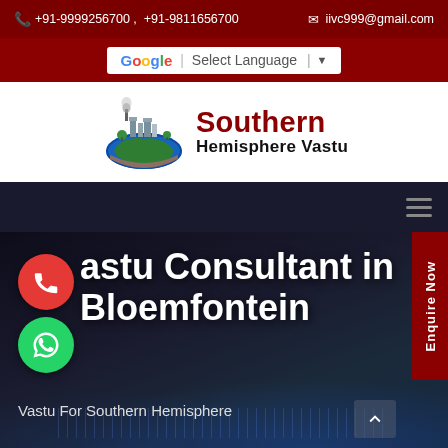+91-9999256700 , +91-9811656700  iivc999@gmail.com
[Figure (screenshot): Google Translate Select Language widget]
[Figure (logo): Southern Hemisphere Vastu logo with globe and buildings]
[Figure (screenshot): Dark navigation bar with hamburger menu icon]
Vastu Consultant in Bloemfontein
Vastu For Southern Hemisphere